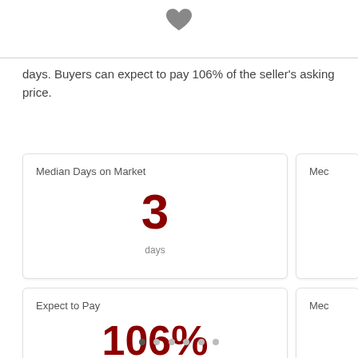[Figure (illustration): Dark gray heart icon, centered at top of page]
days. Buyers can expect to pay 106% of the seller's asking price.
Median Days on Market
3
days
Mec
Expect to Pay
106%
of asking price
Mec